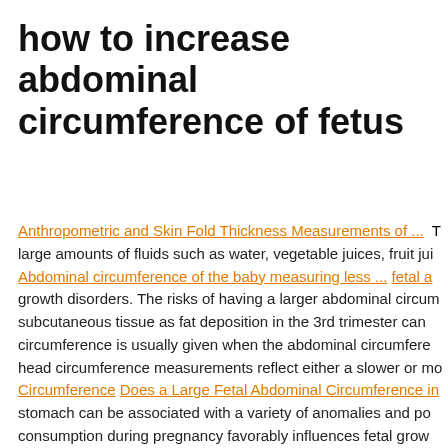how to increase abdominal circumference of fetus
Anthropometric and Skin Fold Thickness Measurements of ... T
large amounts of fluids such as water, vegetable juices, fruit jui
Abdominal circumference of the baby measuring less ... fetal a
growth disorders. The risks of having a larger abdominal circum
subcutaneous tissue as fat deposition in the 3rd trimester can
circumference is usually given when the abdominal circumfere
head circumference measurements reflect either a slower or mo
Circumference Does a Large Fetal Abdominal Circumference in
stomach can be associated with a variety of anomalies and po
consumption during pregnancy favorably influences fetal grow